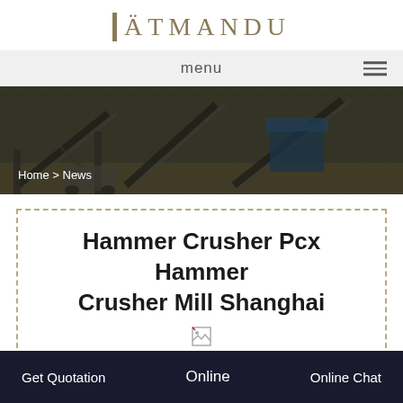ÄTMANDU
menu
[Figure (photo): Industrial mining/crushing plant with conveyor belts and machinery, dark overlay. Breadcrumb: Home > News]
Hammer Crusher Pcx Hammer Crusher Mill Shanghai
[Figure (photo): Broken image icon placeholder]
Get Quotation  Online  Online Chat